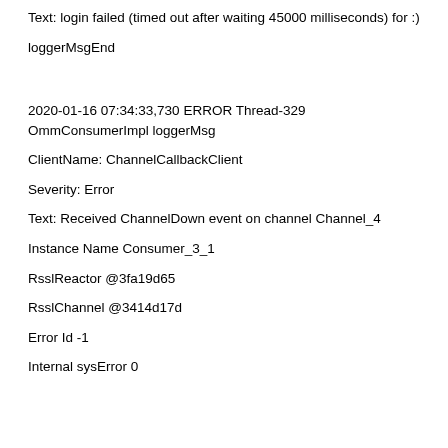Text: login failed (timed out after waiting 45000 milliseconds) for :)
loggerMsgEnd
2020-01-16 07:34:33,730 ERROR Thread-329 OmmConsumerImpl loggerMsg
ClientName: ChannelCallbackClient
Severity: Error
Text: Received ChannelDown event on channel Channel_4
Instance Name Consumer_3_1
RsslReactor @3fa19d65
RsslChannel @3414d17d
Error Id -1
Internal sysError 0